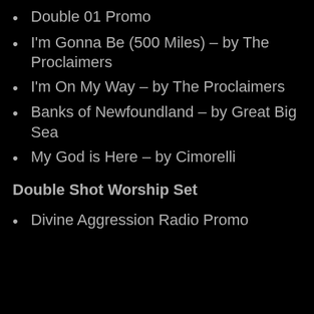Double 01 Promo
I'm Gonna Be (500 Miles) – by The Proclaimers
I'm On My Way – by The Proclaimers
Banks of Newfoundland – by Great Big Sea
My God is Here – by Cimorelli
Double Shot Worship Set
Divine Aggression Radio Promo